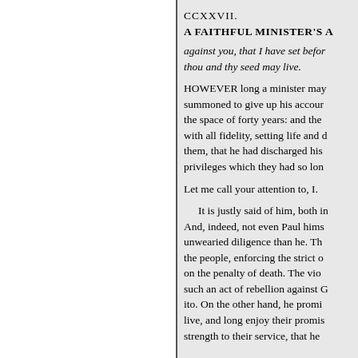CCXXVII.
A FAITHFUL MINISTER'S A
against you, that I have set befor thou and thy seed may live.
HOWEVER long a minister may summoned to give up his accoun the space of forty years: and the with all fidelity, setting life and d them, that he had discharged his privileges which they had so lon
Let me call your attention to, I.
It is justly said of him, both in And, indeed, not even Paul hims unwearied diligence than he. Th the people, enforcing the strict o on the penalty of death. The vio such an act of rebellion against G ito. On the other hand, he promi live, and long enjoy their promis strength to their service, that he